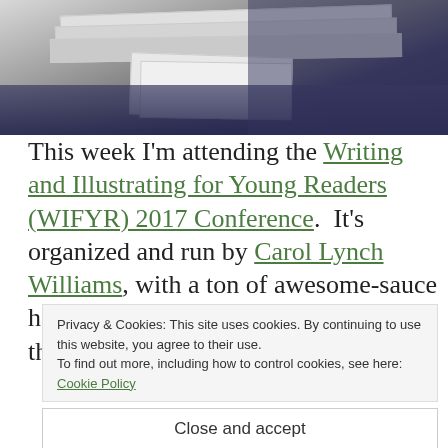[Figure (photo): Photo of stacked papers/books being fed through a printer or filing tray, partial view from top]
This week I'm attending the Writing and Illustrating for Young Readers (WIFYR) 2017 Conference.  It's organized and run by Carol Lynch Williams, with a ton of awesome-sauce helpers supporting her. This is one of the best
Privacy & Cookies: This site uses cookies. By continuing to use this website, you agree to their use.
To find out more, including how to control cookies, see here: Cookie Policy
Close and accept